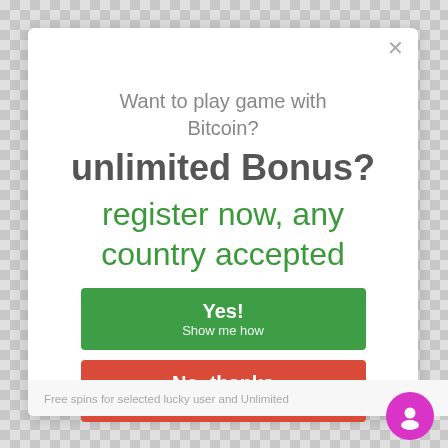Want to play game with Bitcoin?
unlimited Bonus?
register now, any country accepted
Yes!
Show me how
No, thanks
I am not interested
Free spins for selected lucky user and Unlimited